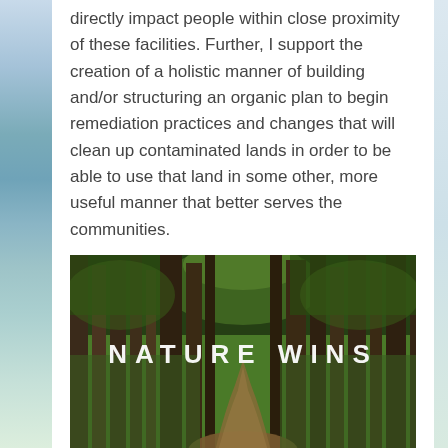directly impact people within close proximity of these facilities. Further, I support the creation of a holistic manner of building and/or structuring an organic plan to begin remediation practices and changes that will clean up contaminated lands in order to be able to use that land in some other, more useful manner that better serves the communities.
[Figure (photo): A forest path through tall green trees with the text 'NATURE WINS' overlaid in large white spaced capital letters]
Other candidates for this office not responding are: